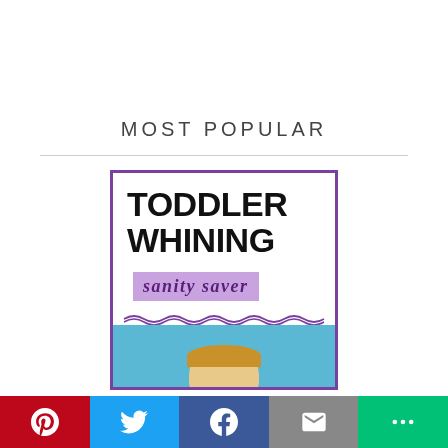MOST POPULAR
[Figure (illustration): Book cover for 'Toddler Whining Sanity Saver' — bold black text on white background with purple border, a purple/lavender banner reading 'sanity saver' in italic script, a decorative wavy line, and the top of a child's head against a blue background at the bottom.]
HOW TO STOP WHINING, A GUIDE FOR MOMS
[Figure (other): Social sharing bar with Pinterest (red), Twitter (blue), Facebook (dark blue), Email (gray), and More (green) buttons.]